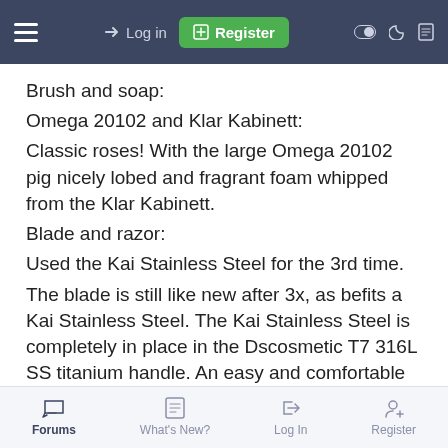≡  → Log in  ⊞ Register  ◉ ☽ 📄
Brush and soap:
Omega 20102 and Klar Kabinett:
Classic roses! With the large Omega 20102 pig nicely lobed and fragrant foam whipped from the Klar Kabinett.
Blade and razor:
Used the Kai Stainless Steel for the 3rd time.
The blade is still like new after 3x, as befits a Kai Stainless Steel. The Kai Stainless Steel is completely in place in the Dscosmetic T7 316L SS titanium handle. An easy and comfortable razor, in which this blade comes into its own and is therefore beautifully effective.
Result: BBS.
Forums  What's New?  Log In  Register